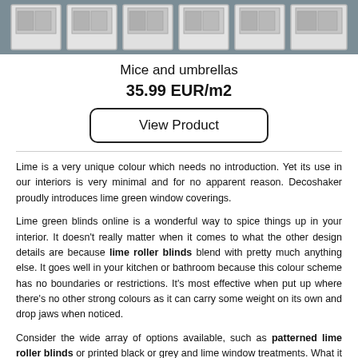[Figure (photo): Row of white window blinds/shutters photographed against a grey-blue background, showing several blind units side by side]
Mice and umbrellas
35.99 EUR/m2
View Product
Lime is a very unique colour which needs no introduction. Yet its use in our interiors is very minimal and for no apparent reason. Decoshaker proudly introduces lime green window coverings.
Lime green blinds online is a wonderful way to spice things up in your interior. It doesn't really matter when it comes to what the other design details are because lime roller blinds blend with pretty much anything else. It goes well in your kitchen or bathroom because this colour scheme has no boundaries or restrictions. It's most effective when put up where there's no other strong colours as it can carry some weight on its own and drop jaws when noticed.
Consider the wide array of options available, such as patterned lime roller blinds or printed black or grey and lime window treatments. What it all comes down to – your personal preference. If the design doesn't seem to fit you, that's completely fine, simply move on to the next one. There are simply quite a lot of lime green blind prints available so you'll surely find great things to like and use in your interior.